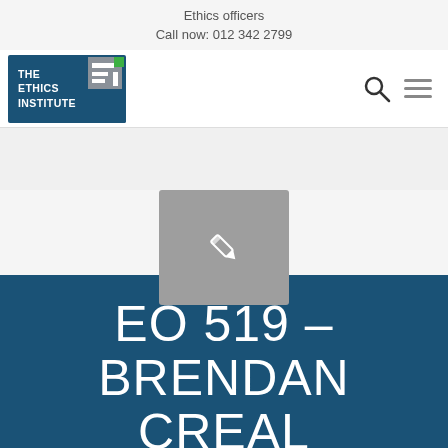Ethics officers
Call now: 012 342 2799
[Figure (logo): The Ethics Institute (TEI) logo — dark blue square with white text 'THE ETHICS INSTITUTE' and TEI monogram graphic in green and grey]
[Figure (illustration): Grey placeholder rectangle with a white pencil/edit icon in the center]
EO 519 – BRENDAN CREALY